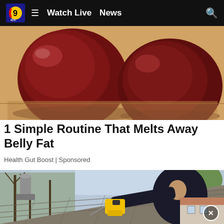Watch Live  News
[Figure (photo): Close-up photo of two dark red roasted or candied beets on a wooden surface]
1 Simple Routine That Melts Away Belly Fat
Health Gut Boost | Sponsored
[Figure (photo): A person in a dark hoodie on a rooftop holding a yellow power drill, with bare trees and a house visible in the background]